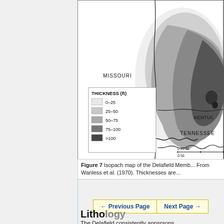[Figure (map): Isopach map of the Delafield Member showing thickness contours in feet across Missouri, Arkansas, Tennessee, and Kentucky states. Contour zones shown in grayscale from light (0-25 ft) to dark (>100 ft). Legend included with thickness ranges: 0-25, 25-50, 50-75, 75-100, >100 ft.]
Figure 7 Isopach map of the Delafield Memb... From Wanless et al. (1970). Thicknesses are...
← Previous Page   Next Page →
Lithology
The Delafield consistently appsrsons...